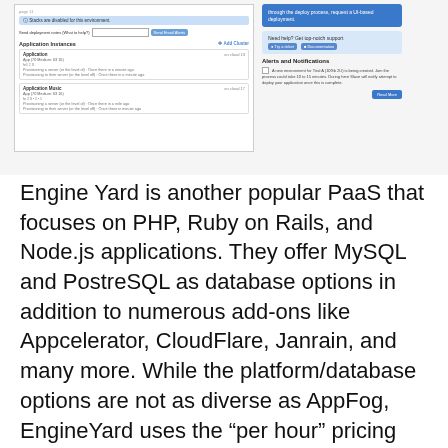[Figure (screenshot): Screenshot of a cloud hosting control panel (Engine Yard or similar PaaS dashboard). Left panel shows Application Instances with two app entries and provisioning status lines. Right panel shows a blue deployment button, a Help/Support section, and an Alerts and Notifications section with a notification about a new environment being created, and a 'Read More' button.]
Engine Yard is another popular PaaS that focuses on PHP, Ruby on Rails, and Node.js applications. They offer MySQL and PostreSQL as database options in addition to numerous add-ons like Appcelerator, CloudFlare, Janrain, and many more. While the platform/database options are not as diverse as AppFog, EngineYard uses the “per hour” pricing metric with a small server instance running for approximately 5 cents an hour. They also offer different tiers of support for your application